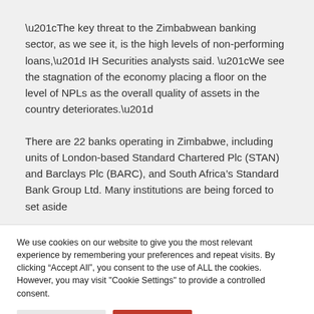“The key threat to the Zimbabwean banking sector, as we see it, is the high levels of non-performing loans,” IH Securities analysts said. “We see the stagnation of the economy placing a floor on the level of NPLs as the overall quality of assets in the country deteriorates.”
There are 22 banks operating in Zimbabwe, including units of London-based Standard Chartered Plc (STAN) and Barclays Plc (BARC), and South Africa’s Standard Bank Group Ltd. Many institutions are being forced to set aside
We use cookies on our website to give you the most relevant experience by remembering your preferences and repeat visits. By clicking “Accept All”, you consent to the use of ALL the cookies. However, you may visit "Cookie Settings" to provide a controlled consent.